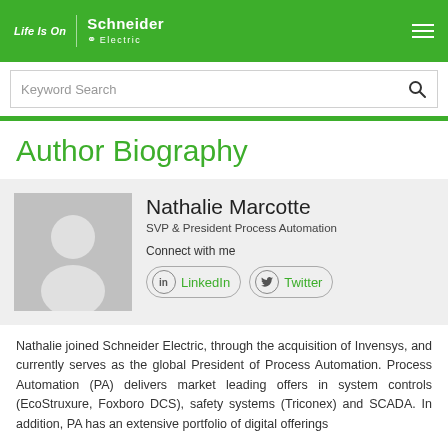Life Is On | Schneider Electric
Keyword Search
Author Biography
[Figure (photo): Generic placeholder person silhouette profile photo in gray]
Nathalie Marcotte
SVP & President Process Automation
Connect with me
LinkedIn  Twitter
Nathalie joined Schneider Electric, through the acquisition of Invensys, and currently serves as the global President of Process Automation. Process Automation (PA) delivers market leading offers in system controls (EcoStruxure, Foxboro DCS), safety systems (Triconex) and SCADA. In addition, PA has an extensive portfolio of digital offerings